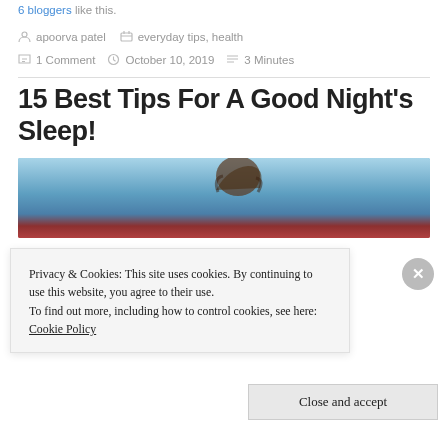6 bloggers like this.
apoorva patel  everyday tips, health  1 Comment  October 10, 2019  3 Minutes
15 Best Tips For A Good Night's Sleep!
[Figure (photo): Person holding head with hands against blue sky background, partially obscured by cookie banner]
Privacy & Cookies: This site uses cookies. By continuing to use this website, you agree to their use.
To find out more, including how to control cookies, see here: Cookie Policy
Close and accept